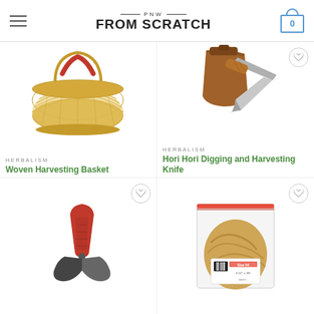PNW FROM SCRATCH — navigation header with hamburger menu and cart (0)
[Figure (photo): Woven straw harvesting basket with red leather handle]
[Figure (photo): Hori Hori digging and harvesting knife with leather sheath]
HERBALISM
Woven Harvesting Basket
HERBALISM
Hori Hori Digging and Harvesting Knife
[Figure (photo): Red-handled garden pruner/pliers tool]
[Figure (photo): Bag of rubber bands or twine, Size 64]